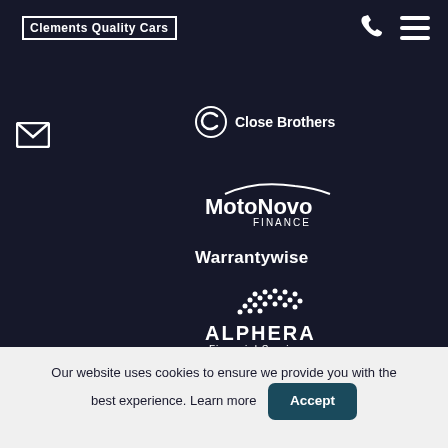Clements Quality Cars
[Figure (logo): Close Brothers logo - circular C icon with text 'Close Brothers']
[Figure (logo): MotoNovo Finance logo - stylized car silhouette above text 'MotoNovo FINANCE']
[Figure (logo): Warrantywise text logo]
[Figure (logo): Alphera Financial Services logo - dot pattern wing above text 'ALPHERA Financial Services']
[Figure (logo): Barclays logo - partially visible eagle icon and 'BARCLAYS' text]
Our website uses cookies to ensure we provide you with the best experience. Learn more
Accept